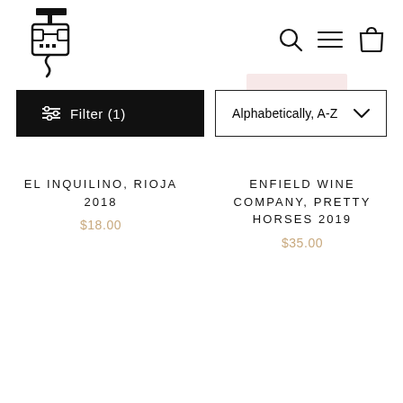[Figure (logo): Corkscrew with glasses character logo (wine shop mascot) in black line art]
[Figure (illustration): Navigation icons: search (magnifying glass), hamburger menu, shopping bag]
Filter (1)
Alphabetically, A-Z
EL INQUILINO, RIOJA 2018
$18.00
ENFIELD WINE COMPANY, PRETTY HORSES 2019
$35.00